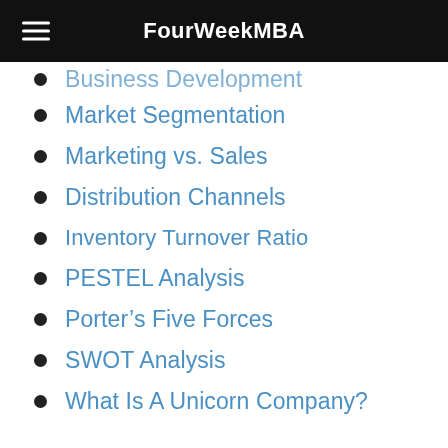FourWeekMBA
Business Development
Market Segmentation
Marketing vs. Sales
Distribution Channels
Inventory Turnover Ratio
PESTEL Analysis
Porter's Five Forces
SWOT Analysis
What Is A Unicorn Company?